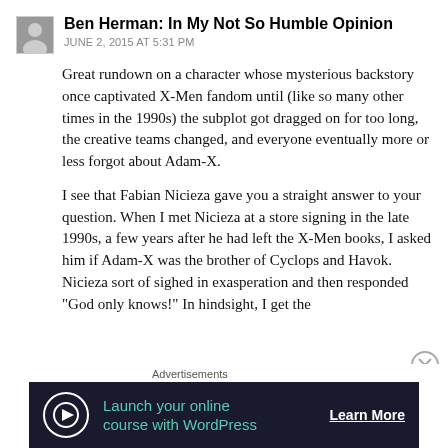Ben Herman: In My Not So Humble Opinion
JUNE 2, 2015 AT 5:31 PM
Great rundown on a character whose mysterious backstory once captivated X-Men fandom until (like so many other times in the 1990s) the subplot got dragged on for too long, the creative teams changed, and everyone eventually more or less forgot about Adam-X.
I see that Fabian Nicieza gave you a straight answer to your question. When I met Nicieza at a store signing in the late 1990s, a few years after he had left the X-Men books, I asked him if Adam-X was the brother of Cyclops and Havok. Nicieza sort of sighed in exasperation and then responded “God only knows!” In hindsight, I get the
Advertisements
[Figure (infographic): Dark banner advertisement: Launch your online course with WordPress — Learn More]